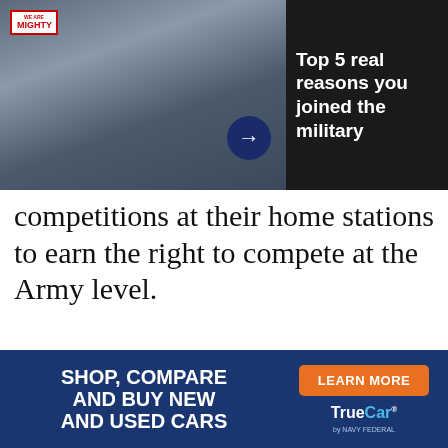[Figure (photo): Military swearing-in ceremony on a baseball field, several young men in casual clothes raising their right hands before a soldier in uniform, with bleachers in the background]
[Figure (photo): Soldiers in camouflage uniforms standing outdoors in a sandy area under a partly cloudy sky]
Top 5 real reasons you joined the military
competitions at their home stations to earn the right to compete at the Army level.
[Figure (advertisement): TrueCar by Navy Federal advertisement: SHOP, COMPARE AND BUY NEW AND USED CARS with LEARN MORE button]